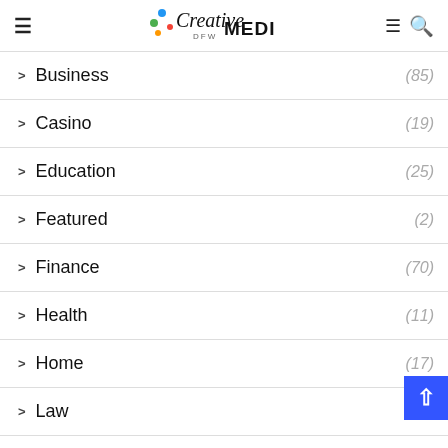Creative DFW MEDIA
Business (85)
Casino (19)
Education (25)
Featured (2)
Finance (70)
Health (11)
Home (17)
Law (11)
News (55)